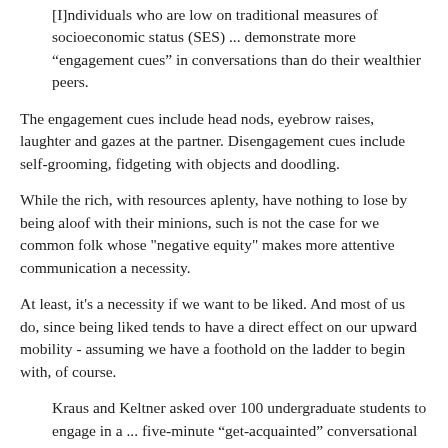[I]ndividuals who are low on traditional measures of socioeconomic status (SES) ... demonstrate more “engagement cues” in conversations than do their wealthier peers.
The engagement cues include head nods, eyebrow raises, laughter and gazes at the partner. Disengagement cues include self-grooming, fidgeting with objects and doodling.
While the rich, with resources aplenty, have nothing to lose by being aloof with their minions, such is not the case for we common folk whose "negative equity" makes more attentive communication a necessity.
At least, it's a necessity if we want to be liked. And most of us do, since being liked tends to have a direct effect on our upward mobility - assuming we have a foothold on the ladder to begin with, of course.
Kraus and Keltner asked over 100 undergraduate students to engage in a ... five-minute “get-acquainted” conversational exchange with a